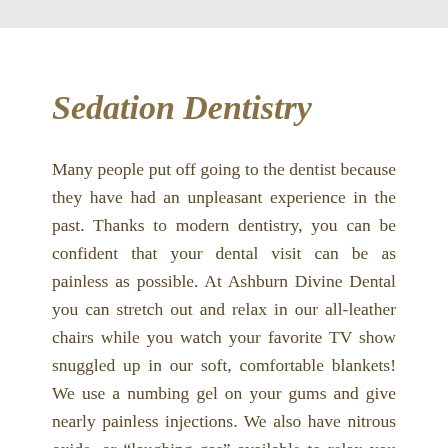Sedation Dentistry
Many people put off going to the dentist because they have had an unpleasant experience in the past. Thanks to modern dentistry, you can be confident that your dental visit can be as painless as possible. At Ashburn Divine Dental you can stretch out and relax in our all-leather chairs while you watch your favorite TV show snuggled up in our soft, comfortable blankets! We use a numbing gel on your gums and give nearly painless injections. We also have nitrous oxide, or “laughing gas” available to relax you while you get your dental work completed. We can even use “conscious sedation” where you take one pill the night before to give you a sound sleep, and then one more pill an hour before your dental appointment to relax you even more. We are